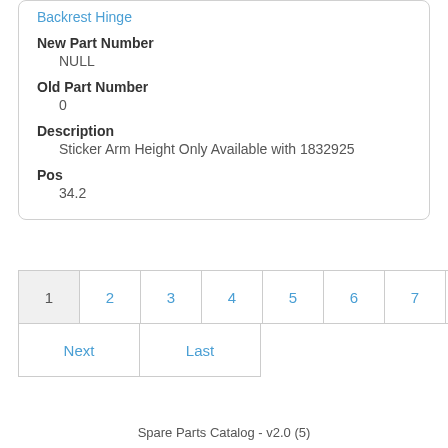Backrest Hinge
New Part Number
NULL
Old Part Number
0
Description
Sticker Arm Height Only Available with 1832925
Pos
34.2
1 2 3 4 5 6 7 8 9 10 Next Last
Spare Parts Catalog - v2.0 (5)